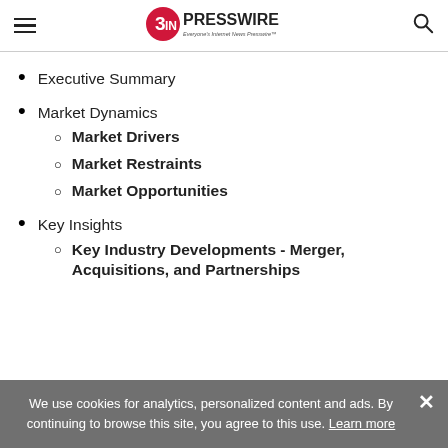EIN PRESSWIRE — Everyone's Internet News Presswire
Executive Summary
Market Dynamics
Market Drivers
Market Restraints
Market Opportunities
Key Insights
Key Industry Developments - Merger, Acquisitions, and Partnerships
We use cookies for analytics, personalized content and ads. By continuing to browse this site, you agree to this use. Learn more